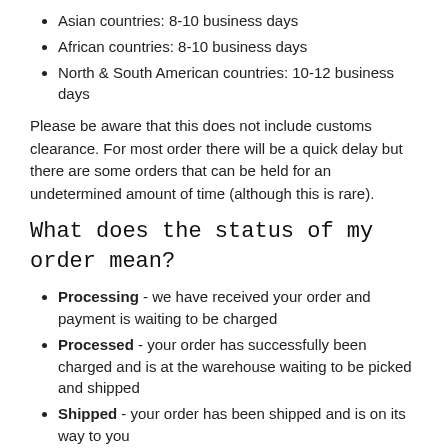Asian countries: 8-10 business days
African countries: 8-10 business days
North & South American countries: 10-12 business days
Please be aware that this does not include customs clearance. For most order there will be a quick delay but there are some orders that can be held for an undetermined amount of time (although this is rare).
What does the status of my order mean?
Processing - we have received your order and payment is waiting to be charged
Processed - your order has successfully been charged and is at the warehouse waiting to be picked and shipped
Shipped - your order has been shipped and is on its way to you